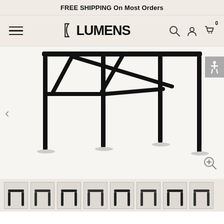FREE SHIPPING On Most Orders
[Figure (logo): Lumens logo with bracket mark]
[Figure (photo): Black metal table base/frame with crossed diagonal supports and four vertical legs, shown on light background]
[Figure (photo): Thumbnail strip showing multiple product view thumbnails of the table]